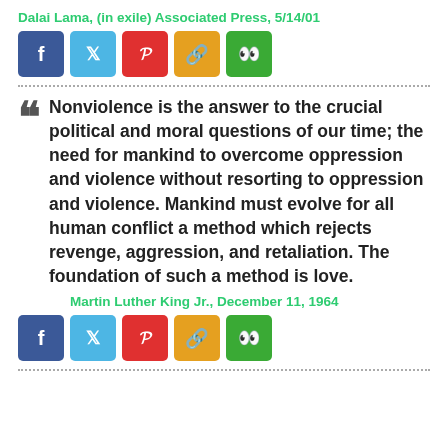Dalai Lama, (in exile) Associated Press, 5/14/01
[Figure (other): Row of social share buttons: Facebook (blue), Twitter (light blue), Pinterest (red), Link (orange/yellow), WhatsApp (green)]
Nonviolence is the answer to the crucial political and moral questions of our time; the need for mankind to overcome oppression and violence without resorting to oppression and violence. Mankind must evolve for all human conflict a method which rejects revenge, aggression, and retaliation. The foundation of such a method is love.
Martin Luther King Jr., December 11, 1964
[Figure (other): Row of social share buttons: Facebook (blue), Twitter (light blue), Pinterest (red), Link (orange/yellow), WhatsApp (green)]